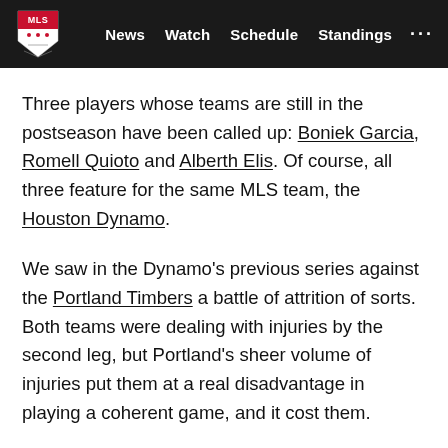MLS | News | Watch | Schedule | Standings
Three players whose teams are still in the postseason have been called up: Boniek Garcia, Romell Quioto and Alberth Elis. Of course, all three feature for the same MLS team, the Houston Dynamo.
We saw in the Dynamo's previous series against the Portland Timbers a battle of attrition of sorts. Both teams were dealing with injuries by the second leg, but Portland's sheer volume of injuries put them at a real disadvantage in playing a coherent game, and it cost them.
Hopefully the Hondurans participating in the World Cup